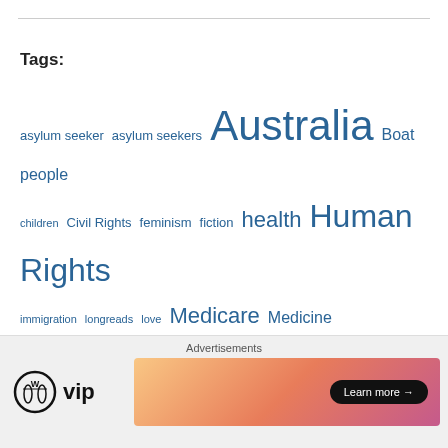Tags:
asylum seeker  asylum seekers  Australia  Boat people  children  Civil Rights  feminism  fiction  health  Human Rights  immigration  longreads  love  Medicare  Medicine  news  New Zealand  parenting  politics  racism  refugee  religion  sexism  Tony Abbott  United States
Follow me on Twitter
[Figure (screenshot): Advertisement bar with WordPress VIP logo and a gradient banner ad with Learn more button]